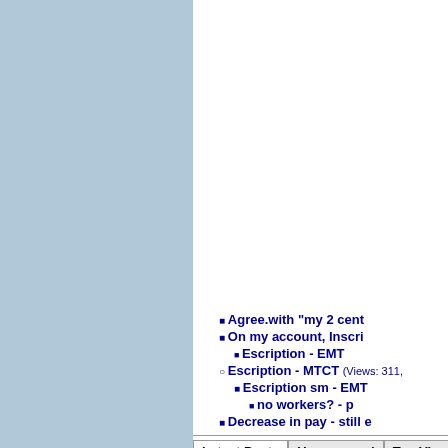Agree.with "my 2 cent
On my account, Inscri
Escription - EMT
Escription - MTCT (Views: 311,
Escription sm - EMT
no workers? - p
Decrease in pay - still e
Latest Posts | Unanswered | Top View
Has anyone recently worked for th
Job
Is Keystrokes still around?
Amic ad
Anyone have experience with a co
Neurology Transcriptionist
Spam
Audit